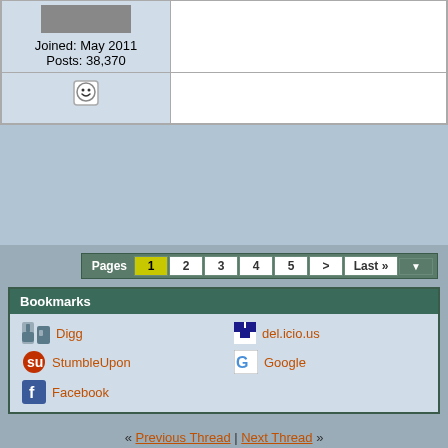Joined: May 2011
Posts: 38,370
[Figure (other): Emoji/smiley face icon in a forum post row]
Pages 1 2 3 4 5 > Last »
Bookmarks
Digg
del.icio.us
StumbleUpon
Google
Facebook
« Previous Thread | Next Thread »
Thread Tools
Show Printable Version
Email this Page